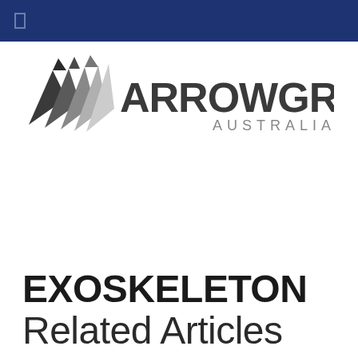[Figure (logo): Arrow Group Australia logo with geometric arrow icon made of dark and light grey triangular shapes, followed by 'ARROWGROUP' in bold dark grey letters and 'AUSTRALIA' in spaced lighter grey letters below]
EXOSKELETON Related Articles